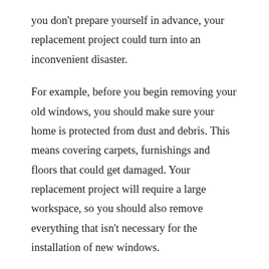you don't prepare yourself in advance, your replacement project could turn into an inconvenient disaster.
For example, before you begin removing your old windows, you should make sure your home is protected from dust and debris. This means covering carpets, furnishings and floors that could get damaged. Your replacement project will require a large workspace, so you should also remove everything that isn't necessary for the installation of new windows.
If you want to protect your home and your new windows, it's important that you take steps in advance. When preparing for a window replacement project, be sure to clear out any and all unnecessary items from your workspace so that you won't risk damaging anything else. You should also cover flooring, carpets and furniture with protection before